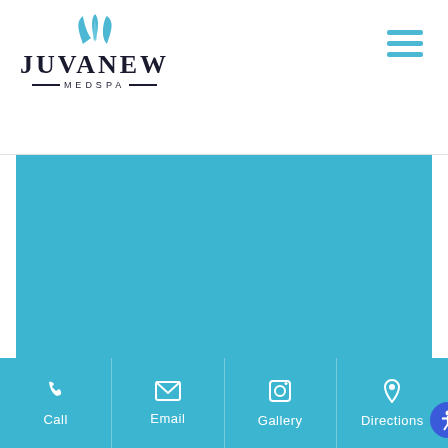[Figure (logo): Juvanew Medspa logo with teal lotus/leaf icon above stylized text 'JUVANEW' with '—MEDSPA—' below]
[Figure (other): Hamburger menu icon (three horizontal teal lines) in top right corner]
[Figure (other): Large teal/blue rectangle panel occupying the main content area of the page]
Call   Email   Gallery   Directions